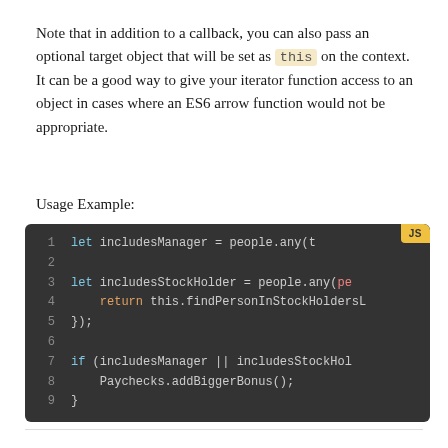Note that in addition to a callback, you can also pass an optional target object that will be set as this on the context. It can be a good way to give your iterator function access to an object in cases where an ES6 arrow function would not be appropriate.
Usage Example:
[Figure (screenshot): Code block showing JavaScript usage example with people.any() calls, includesManager and includesStockHolder variables, and Paychecks.addBiggerBonus() call. Lines 1-9 on dark background with JS badge.]